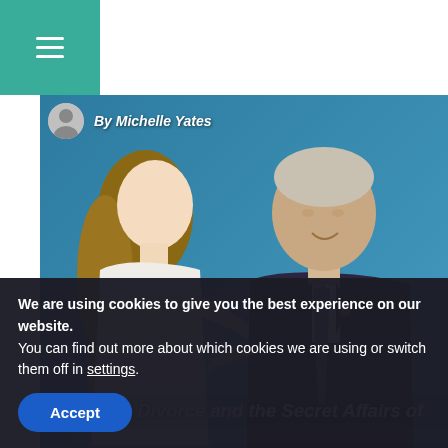Navigation header with hamburger menu
By Michelle Yates
[Figure (photo): Two people shaking hands in front of a blue background — a woman in a white sleeveless outfit and a man in a dark navy suit with a tie]
Marriage, Divorce and the Secret Affairs of
We are using cookies to give you the best experience on our website.
You can find out more about which cookies we are using or switch them off in settings.
Accept